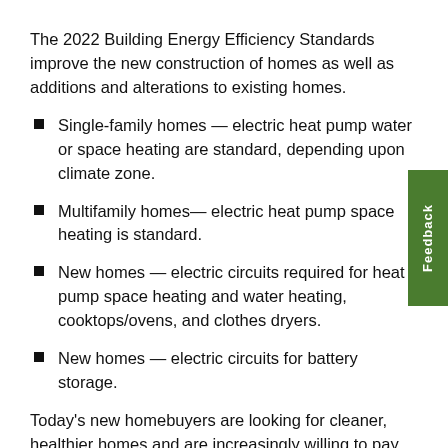The 2022 Building Energy Efficiency Standards improve the new construction of homes as well as additions and alterations to existing homes.
Single-family homes — electric heat pump water or space heating are standard, depending upon climate zone.
Multifamily homes— electric heat pump space heating is standard.
New homes — electric circuits required for heat pump space heating and water heating, cooktops/ovens, and clothes dryers.
New homes — electric circuits for battery storage.
Today's new homebuyers are looking for cleaner, healthier homes and are increasingly willing to pay for features and products that deliver these benefits. Data shows that 60% of new homebuyers are willing to pay more for solar.